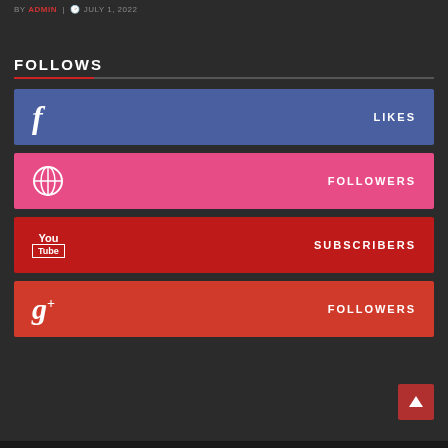BY ADMIN | JULY 1, 2022
FOLLOWS
[Figure (infographic): Facebook social follow bar with 'f' icon and LIKES label]
[Figure (infographic): Dribbble social follow bar with dribbble icon and FOLLOWERS label]
[Figure (infographic): YouTube social follow bar with YouTube icon and SUBSCRIBERS label]
[Figure (infographic): Google+ social follow bar with g+ icon and FOLLOWERS label]